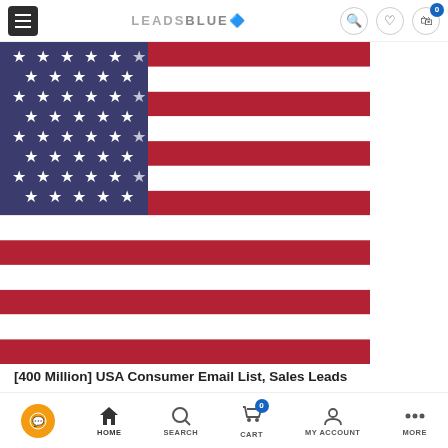LEADSBLUE - navigation header with menu, logo, search, wishlist, cart
[Figure (illustration): USA American flag showing stars and stripes, blue canton with white stars in top-left, red and white horizontal stripes]
[400 Million] USA Consumer Email List, Sales Leads Database
HOME | SEARCH | CART (0) | MY ACCOUNT | MORE